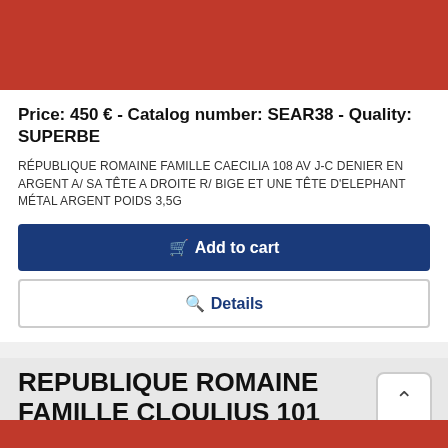[Figure (photo): Two ancient Roman silver coins photographed on a red background, showing obverse and reverse sides]
Price: 450 € - Catalog number: SEAR38 - Quality: SUPERBE
RÉPUBLIQUE ROMAINE FAMILLE CAECILIA 108 AV J-C DENIER EN ARGENT A/ SA TÊTE A DROITE R/ BIGE ET UNE TÊTE D'ELEPHANT MÉTAL ARGENT POIDS 3,5g
Add to cart
Details
REPUBLIQUE ROMAINE FAMILLE CLOULIUS 101 AV JC
[Figure (photo): Two ancient Roman silver coins photographed on a red background, partially visible at bottom of page]